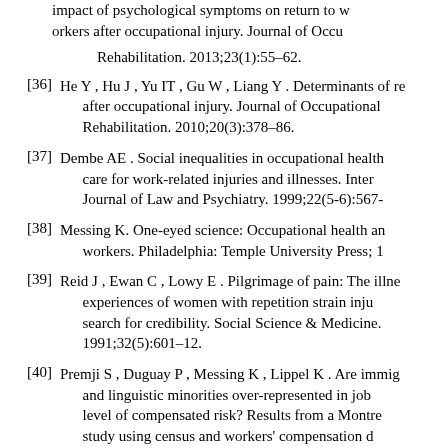impact of psychological symptoms on return to work in workers after occupational injury. Journal of Occupational Rehabilitation. 2013;23(1):55–62.
[36] He Y, Hu J, Yu IT, Gu W, Liang Y. Determinants of re... after occupational injury. Journal of Occupational Rehabilitation. 2010;20(3):378–86.
[37] Dembe AE. Social inequalities in occupational health care for work-related injuries and illnesses. International Journal of Law and Psychiatry. 1999;22(5-6):567-
[38] Messing K. One-eyed science: Occupational health and workers. Philadelphia: Temple University Press;
[39] Reid J, Ewan C, Lowy E. Pilgrimage of pain: The illness experiences of women with repetition strain injury and their search for credibility. Social Science & Medicine. 1991;32(5):601–12.
[40] Premji S, Duguay P, Messing K, Lippel K. Are immigrants and linguistic minorities over-represented in jobs with a high level of compensated risk? Results from a Montreal study using census and workers' compensation d...